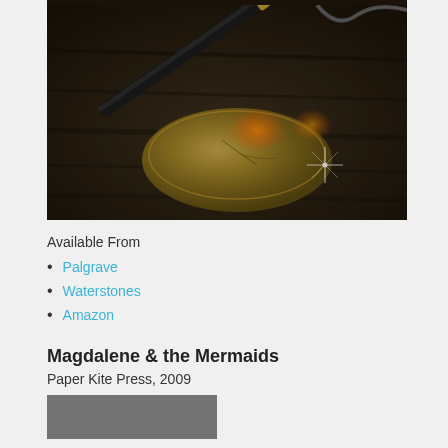[Figure (photo): Close-up photograph of a fountain pen nib resting on or near a golden metallic object (possibly an inkwell or decorative piece), on a dark wooden surface. A lens flare or sparkle effect is visible in the lower right of the image.]
Available From
Palgrave
Waterstones
Amazon
Magdalene & the Mermaids
Paper Kite Press, 2009
[Figure (photo): Partial view of a book cover or image, cropped at the bottom of the page.]